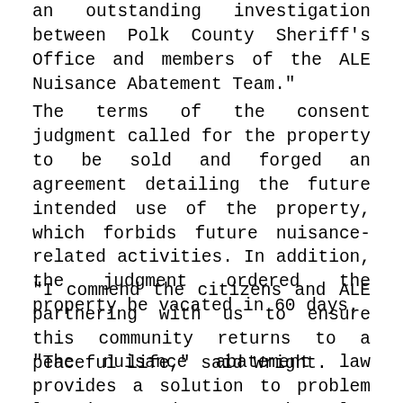an outstanding investigation between Polk County Sheriff’s Office and members of the ALE Nuisance Abatement Team.”
The terms of the consent judgment called for the property to be sold and forged an agreement detailing the future intended use of the property, which forbids future nuisance-related activities. In addition, the judgment ordered the property be vacated in 60 days.
“I commend the citizens and ALE partnering with us to ensure this community returns to a peaceful life,” said Wright.
"The nuisance abatement law provides a solution to problem locations that strain law enforcement resources and reduce the quality